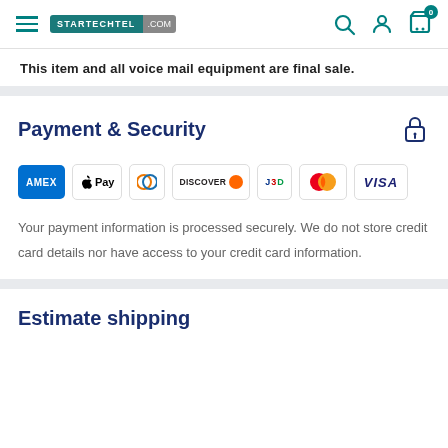STARTECHTEL .COM — navigation bar with search, account, and cart icons
This item and all voice mail equipment are final sale.
Payment & Security
[Figure (logo): Payment method logos: AMEX, Apple Pay, Diners Club, Discover, JCB, Mastercard, Visa]
Your payment information is processed securely. We do not store credit card details nor have access to your credit card information.
Estimate shipping